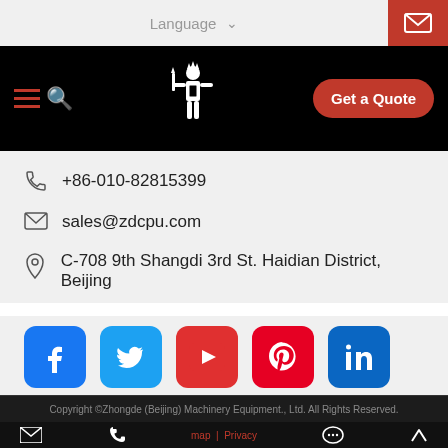Language
[Figure (logo): Zhongde mascot logo — white stylized warrior figure on black background]
+86-010-82815399
sales@zdcpu.com
C-708 9th Shangdi 3rd St. Haidian District, Beijing
[Figure (infographic): Social media icons row: Facebook, Twitter, YouTube, Pinterest, LinkedIn]
Copyright ©Zhongde (Beijing) Machinery Equipment., Ltd. All Rights Reserved.
map   |   Privacy